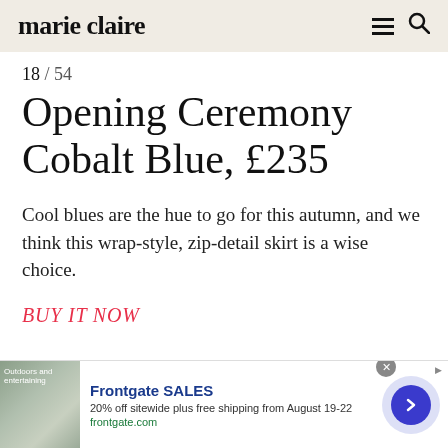marie claire
18 / 54
Opening Ceremony Cobalt Blue, £235
Cool blues are the hue to go for this autumn, and we think this wrap-style, zip-detail skirt is a wise choice.
BUY IT NOW
[Figure (screenshot): Advertisement for Frontgate SALES: 20% off sitewide plus free shipping from August 19-22. frontgate.com. Shows outdoor furniture with fire pit.]